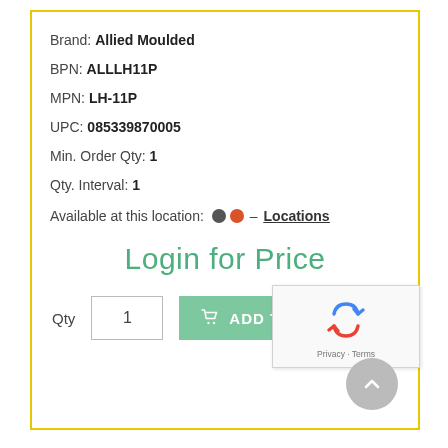Brand: Allied Moulded
BPN: ALLLH11P
MPN: LH-11P
UPC: 085339870005
Min. Order Qty: 1
Qty. Interval: 1
Available at this location: [dark dot][red dot] – Locations
Login for Price
Qty  1  ADD TO CART